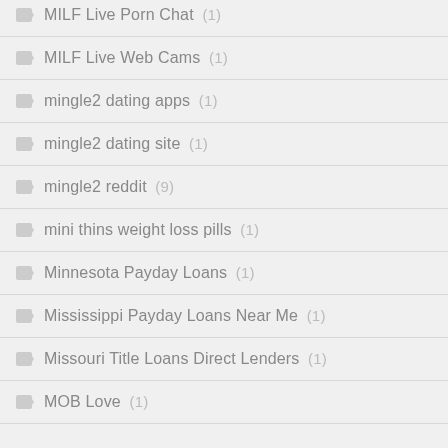MILF Live Porn Chat (1)
MILF Live Web Cams (1)
mingle2 dating apps (1)
mingle2 dating site (1)
mingle2 reddit (9)
mini thins weight loss pills (1)
Minnesota Payday Loans (1)
Mississippi Payday Loans Near Me (1)
Missouri Title Loans Direct Lenders (1)
MOB Love (1)